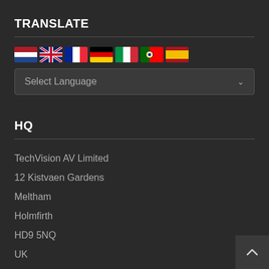TRANSLATE
[Figure (illustration): Row of country flag icons: Netherlands, UK, France, Germany, Italy, Portugal, Spain]
Select Language
HQ
TechVision AV Limited
12 Kistvaen Gardens
Meltham
Holmfirth
HD9 5NQ
UK